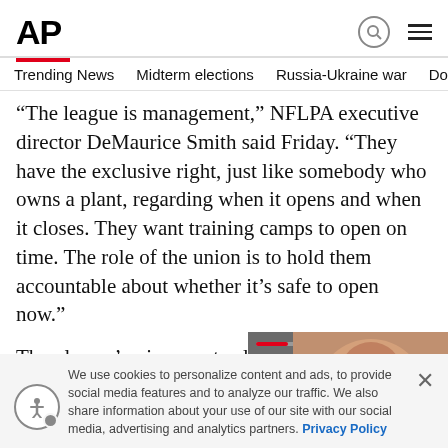AP
Trending News   Midterm elections   Russia-Ukraine war   Dona
“The league is management,” NFLPA executive director DeMaurice Smith said Friday. “They have the exclusive right, just like somebody who owns a plant, regarding when it opens and when it closes. They want training camps to open on time. The role of the union is to hold them accountable about whether it’s safe to open now.”
The players’ union wants players te[st daily for the] virus. A joint committee of doctors [and] strength coaches formed by the N[FL...]
[Figure (screenshot): Video popup overlay showing a woman smiling, with a red progress bar at top and playback controls at bottom, and a close (X) button on the right.]
We use cookies to personalize content and ads, to provide social media features and to analyze our traffic. We also share information about your use of our site with our social media, advertising and analytics partners. Privacy Policy